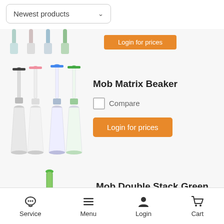Newest products
[Figure (photo): Partial product image with orange Login for prices button (cut off at top)]
Mob Matrix Beaker
Compare
Login for prices
Mob Double Stack Green
Compare
Login for prices
Service   Menu   Login   Cart